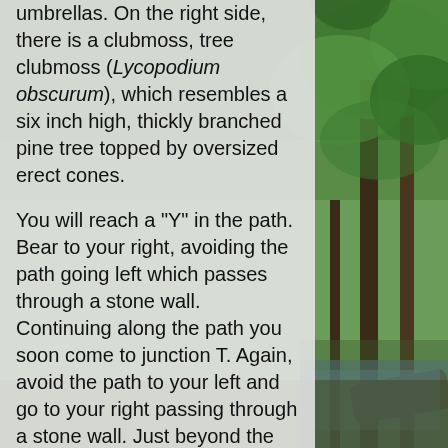[Figure (photo): Forest background with green foliage, trees, and a stream visible on the right side of the page.]
umbrellas. On the right side, there is a clubmoss, tree clubmoss (Lycopodium obscurum), which resembles a six inch high, thickly branched pine tree topped by oversized erect cones.

You will reach a "Y" in the path. Bear to your right, avoiding the path going left which passes through a stone wall. Continuing along the path you soon come to junction T. Again, avoid the path to your left and go to your right passing through a stone wall. Just beyond the wall, there is an area with lots of haircap moss. The path again rises as it heads to the south and passes many clumps of haircap moss. Haircap moss is a bryophyte and is a nonvascular plant. It lacks true foliage, true roots, a highly developed internal circulation system, and a cuticle, the waxy outer layer that helps higher plants resist water loss. On the floor of